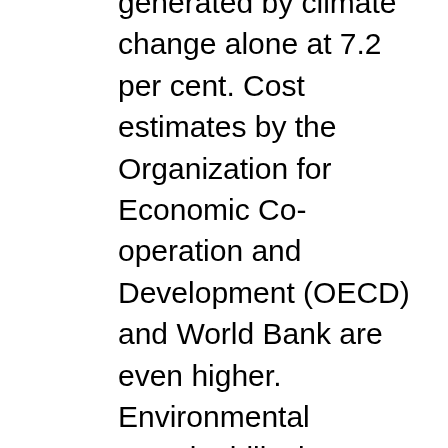Organization (ILO) puts the productivity losses generated by climate change alone at 7.2 per cent. Cost estimates by the Organization for Economic Co-operation and Development (OECD) and World Bank are even higher. Environmental sustainability is not an option from a labour market perspective, it is a necessity.
What is more: proactive policies to protect the climate and preserve the environment can actually create substantially more jobs than the 'business as usual' growth. Our review of global and over 30 national assessments concludes that creating up to 60 million additional jobs by 2030 is perfectly possible.
Big strides could also be made in reducing working poverty, notably in agriculture which still employs one in every three workers, over one billion globally. Access to clean and affordable energy, as well as energy-efficient public transport and housing is a powerful way to overcome social exclusion. Access to modern